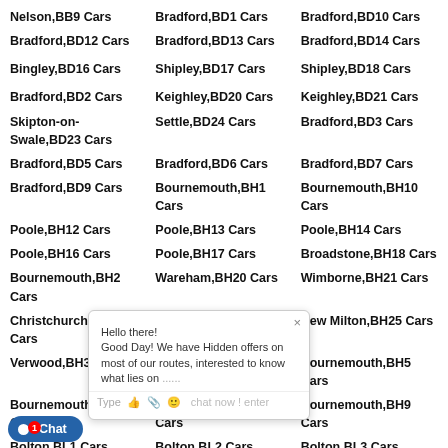Nelson,BB9 Cars
Bradford,BD1 Cars
Bradford,BD10 Cars
Bradford,BD12 Cars
Bradford,BD13 Cars
Bradford,BD14 Cars
Bingley,BD16 Cars
Shipley,BD17 Cars
Shipley,BD18 Cars
Bradford,BD2 Cars
Keighley,BD20 Cars
Keighley,BD21 Cars
Skipton-on-Swale,BD23 Cars
Settle,BD24 Cars
Bradford,BD3 Cars
Bradford,BD5 Cars
Bradford,BD6 Cars
Bradford,BD7 Cars
Bradford,BD9 Cars
Bournemouth,BH1 Cars
Bournemouth,BH10 Cars
Poole,BH12 Cars
Poole,BH13 Cars
Poole,BH14 Cars
Poole,BH16 Cars
Poole,BH17 Cars
Broadstone,BH18 Cars
Bournemouth,BH2 Cars
Wareham,BH20 Cars
Wimborne,BH21 Cars
Christchurch,BH23 Cars
Ringwood,BH24 Cars
New Milton,BH25 Cars
Verwood,BH31 Cars
Bournemouth,BH4 Cars
Bournemouth,BH5 Cars
Bournemouth,BH6 Cars
Bournemouth,BH8 Cars
Bournemouth,BH9 Cars
Bolton,BL1 Cars
Bolton,BL2 Cars
Bolton,BL3 Cars
Bolton,BL5 Cars
Bolton,BL6 Cars
Bolton,BL7 Cars